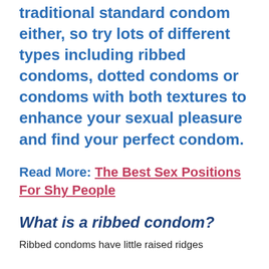traditional standard condom either, so try lots of different types including ribbed condoms, dotted condoms or condoms with both textures to enhance your sexual pleasure and find your perfect condom.
Read More: The Best Sex Positions For Shy People
What is a ribbed condom?
Ribbed condoms have little raised ridges